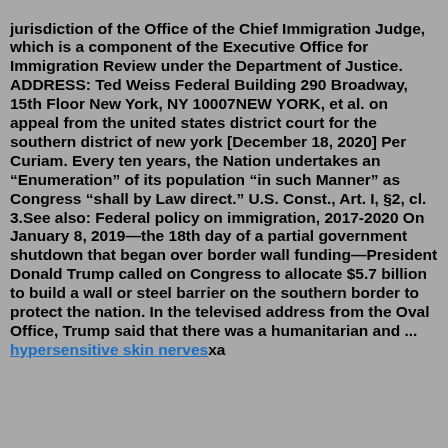jurisdiction of the Office of the Chief Immigration Judge, which is a component of the Executive Office for Immigration Review under the Department of Justice. ADDRESS: Ted Weiss Federal Building 290 Broadway, 15th Floor New York, NY 10007NEW YORK, et al. on appeal from the united states district court for the southern district of new york [December 18, 2020] Per Curiam. Every ten years, the Nation undertakes an "Enumeration" of its population "in such Manner" as Congress "shall by Law direct." U.S. Const., Art. I, §2, cl. 3.See also: Federal policy on immigration, 2017-2020 On January 8, 2019—the 18th day of a partial government shutdown that began over border wall funding—President Donald Trump called on Congress to allocate $5.7 billion to build a wall or steel barrier on the southern border to protect the nation. In the televised address from the Oval Office, Trump said that there was a humanitarian and ... hypersensitive skin nervesxa